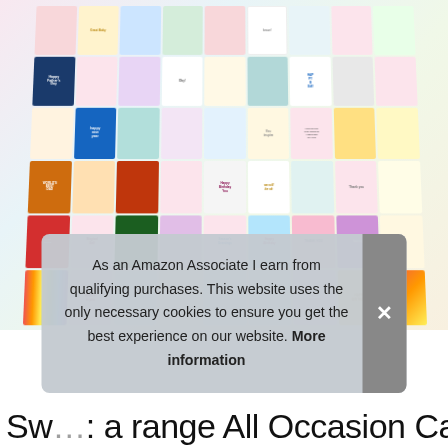[Figure (photo): A collage of colorful greeting cards arranged in a fan/grid pattern showing various occasions including Happy Father's Day, Happy New Year, Happy Birthday, holiday cards, thank you cards, and many others with floral, illustrated, and typographic designs. The cards are displayed in a perspective view with many rows and columns.]
As an Amazon Associate I earn from qualifying purchases. This website uses the only necessary cookies to ensure you get the best experience on our website. More information
Sw....: a range All Occasion Cards